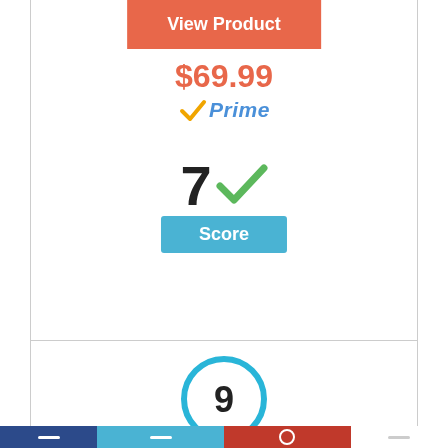[Figure (screenshot): View Product button in orange/coral color]
$69.99
[Figure (logo): Amazon Prime logo with checkmark and Prime text]
[Figure (infographic): Score of 7 with green checkmark and blue Score label badge]
[Figure (infographic): Score of 9 inside a blue circle]
[Figure (screenshot): Bottom navigation bar with dark blue, light blue, red, and white/gray segments]